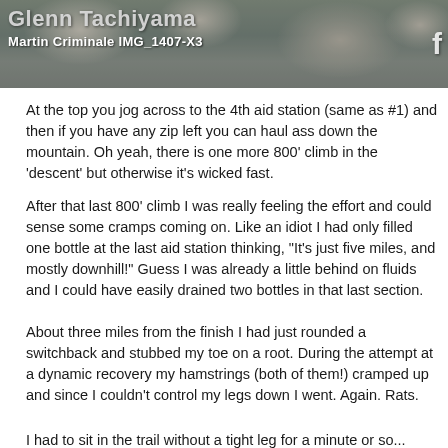[Figure (photo): Photo banner of rocky mountain terrain with overlaid text 'Glenn Tachiyama' and 'Martin Criminale IMG_1407-X3' and a Facebook icon on the right]
At the top you jog across to the 4th aid station (same as #1) and then if you have any zip left you can haul ass down the mountain. Oh yeah, there is one more 800' climb in the 'descent' but otherwise it's wicked fast.
After that last 800' climb I was really feeling the effort and could sense some cramps coming on. Like an idiot I had only filled one bottle at the last aid station thinking, "It's just five miles, and mostly downhill!" Guess I was already a little behind on fluids and I could have easily drained two bottles in that last section.
About three miles from the finish I had just rounded a switchback and stubbed my toe on a root. During the attempt at a dynamic recovery my hamstrings (both of them!) cramped up and since I couldn't control my legs down I went. Again. Rats.
I had to sit in the trail without a tight leg for a minute or so...